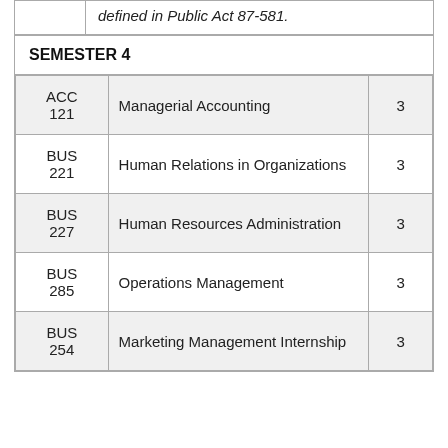| Code | Course Title | Credits |
| --- | --- | --- |
|  | defined in Public Act 87-581. |  |
| SEMESTER 4 |  |  |
| ACC 121 | Managerial Accounting | 3 |
| BUS 221 | Human Relations in Organizations | 3 |
| BUS 227 | Human Resources Administration | 3 |
| BUS 285 | Operations Management | 3 |
| BUS 254 | Marketing Management Internship | 3 |